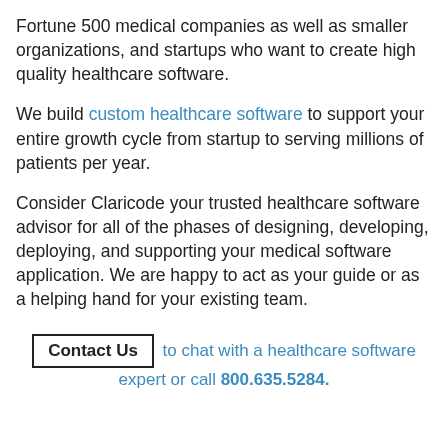Fortune 500 medical companies as well as smaller organizations, and startups who want to create high quality healthcare software.
We build custom healthcare software to support your entire growth cycle from startup to serving millions of patients per year.
Consider Claricode your trusted healthcare software advisor for all of the phases of designing, developing, deploying, and supporting your medical software application. We are happy to act as your guide or as a helping hand for your existing team.
Contact Us to chat with a healthcare software expert or call 800.635.5284.